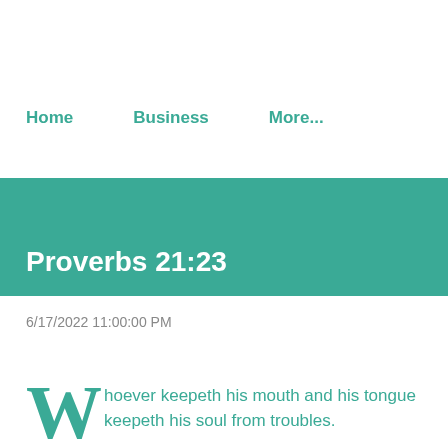Home   Business   More...
Proverbs 21:23
6/17/2022 11:00:00 PM
Whoever keepeth his mouth and his tongue keepeth his soul from troubles.